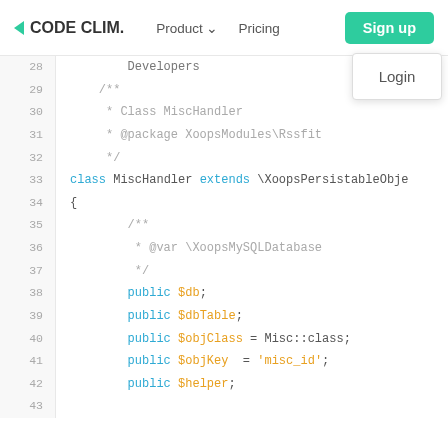CODE CLIM. | Product | Pricing | Sign up | Login
[Figure (screenshot): Code editor screenshot showing PHP class MiscHandler source code lines 28-43 with syntax highlighting]
28    Developers
29    /**
30     * Class MiscHandler
31     * @package XoopsModules\Rssfit
32     */
33   class MiscHandler extends \XoopsPersistableObje
34   {
35        /**
36         * @var \XoopsMySQLDatabase
37         */
38        public $db;
39        public $dbTable;
40        public $objClass = Misc::class;
41        public $objKey   = 'misc_id';
42        public $helper;
43